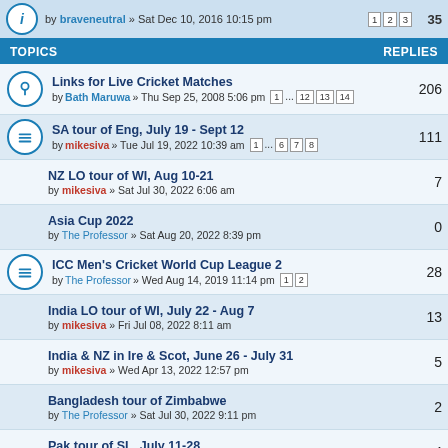by braveneutral » Sat Dec 10, 2016 10:15 pm | pages 1 2 3 | 35
TOPICS | REPLIES
Links for Live Cricket Matches by Bath Maruwa » Thu Sep 25, 2008 5:06 pm | 1 ... 12 13 14 | 206
SA tour of Eng, July 19 - Sept 12 by mikesiva » Tue Jul 19, 2022 10:39 am | 1 ... 6 7 8 | 111
NZ LO tour of WI, Aug 10-21 by mikesiva » Sat Jul 30, 2022 6:06 am | 7
Asia Cup 2022 by The Professor » Sat Aug 20, 2022 8:39 pm | 0
ICC Men's Cricket World Cup League 2 by The Professor » Wed Aug 14, 2019 11:14 pm | 1 2 | 28
India LO tour of WI, July 22 - Aug 7 by mikesiva » Fri Jul 08, 2022 8:11 am | 13
India & NZ in Ire & Scot, June 26 - July 31 by mikesiva » Wed Apr 13, 2022 12:57 pm | 5
Bangladesh tour of Zimbabwe by The Professor » Sat Jul 30, 2022 9:11 pm | 2
Pak tour of SL, July 11-28 by mikesiva » Mon Jul 04, 2022 8:05 am | 4
India in England Aug-Sep 2021 (& July 2022) | 500